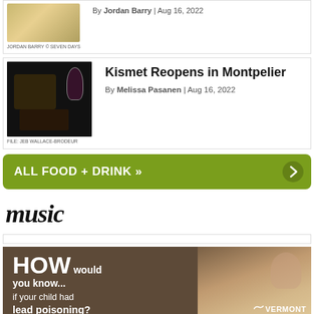[Figure (photo): Partial article card image at top (cropped), circular dish photo]
JORDAN BARRY © SEVEN DAYS
By Jordan Barry | Aug 16, 2022
[Figure (photo): Food and drink photo for Kismet restaurant article — dark background, wine glass and food dish]
FILE: JEB WALLACE-BRODEUR
Kismet Reopens in Montpelier
By Melissa Pasanen | Aug 16, 2022
ALL FOOD + DRINK »
music
[Figure (photo): Vermont Department of Health advertisement — HOW would you know... if your child had lead poisoning? with baby photo]
VERMONT DEPARTMENT OF HEALTH